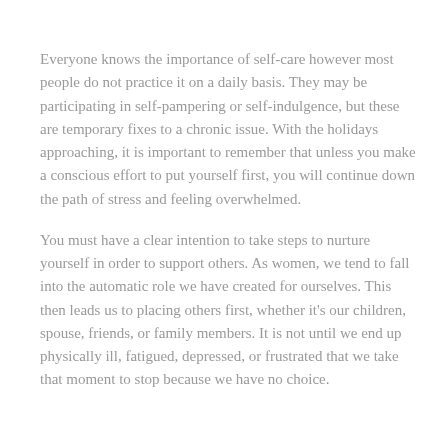Everyone knows the importance of self-care however most people do not practice it on a daily basis. They may be participating in self-pampering or self-indulgence, but these are temporary fixes to a chronic issue. With the holidays approaching, it is important to remember that unless you make a conscious effort to put yourself first, you will continue down the path of stress and feeling overwhelmed.
You must have a clear intention to take steps to nurture yourself in order to support others. As women, we tend to fall into the automatic role we have created for ourselves. This then leads us to placing others first, whether it's our children, spouse, friends, or family members. It is not until we end up physically ill, fatigued, depressed, or frustrated that we take that moment to stop because we have no choice.